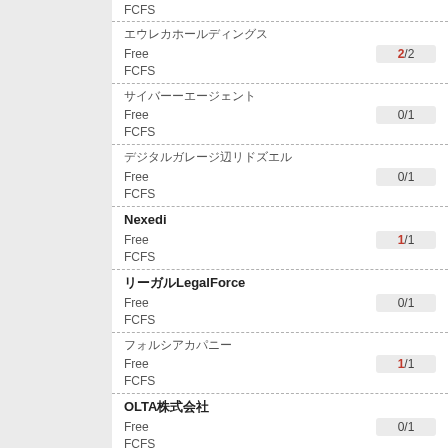FCFS
（Japanese text）
Free   2/2
FCFS
（Japanese text）
Free   0/1
FCFS
（Japanese text）
Free   0/1
FCFS
Nexedi
Free   1/1
FCFS
（Japanese text）LegalForce
Free   0/1
FCFS
（Japanese text）
Free   1/1
FCFS
OLTA（Japanese text）
Free   0/1
FCFS